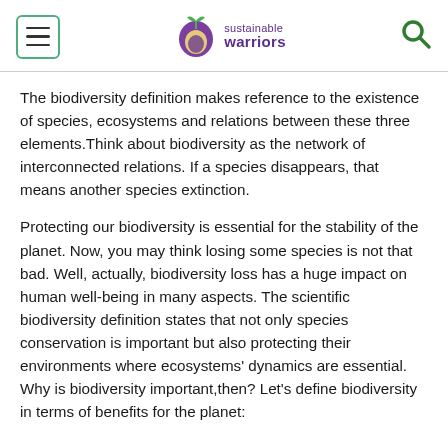sustainable warriors
The biodiversity definition makes reference to the existence of species, ecosystems and relations between these three elements.Think about biodiversity as the network of interconnected relations. If a species disappears, that means another species extinction.
Protecting our biodiversity is essential for the stability of the planet. Now, you may think losing some species is not that bad. Well, actually, biodiversity loss has a huge impact on human well-being in many aspects. The scientific biodiversity definition states that not only species conservation is important but also protecting their environments where ecosystems' dynamics are essential. Why is biodiversity important,then? Let's define biodiversity in terms of benefits for the planet: